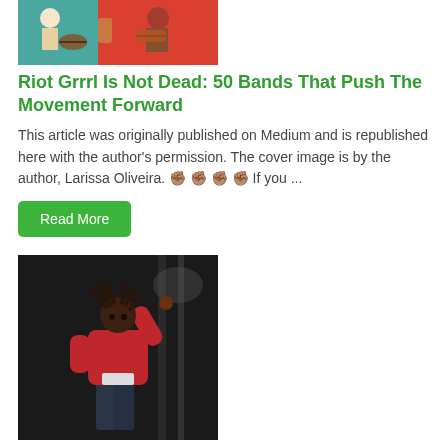[Figure (illustration): Colorful illustration of musicians, woman with raised fist and man with guitar on red background]
Riot Grrrl Is Not Dead: 50 Bands That Push The Movement Forward
This article was originally published on Medium and is republished here with the author's permission. The cover image is by the author, Larissa Oliveira. ✊✊✊✊ If you ...
Read More
[Figure (photo): Black man in red hoodie on stage pointing upward with dreadlocks, performing at outdoor festival]
Denzel Curry Drops New Single Supporting A Community Protest Group
New Drop: The Alley, backed by a variety of formats, If you ...